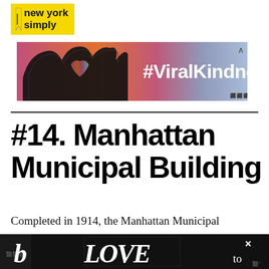new york simply
[Figure (photo): Advertisement banner with hands forming a heart shape silhouette, colorful sunset background, text #ViralKindness]
#14. Manhattan Municipal Building
Completed in 1914, the Manhattan Municipal Building is one of the largest government b...
[Figure (photo): Bottom advertisement banner with decorative LOVE text artwork, dark background]